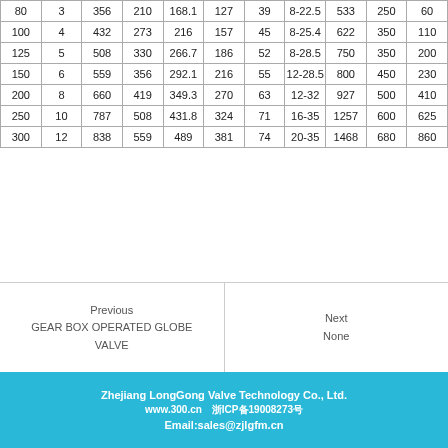| 80 | 3 | 356 | 210 | 168.1 | 127 | 39 | 8-22.5 | 533 | 250 | 60 |
| 100 | 4 | 432 | 273 | 216 | 157 | 45 | 8-25.4 | 622 | 350 | 110 |
| 125 | 5 | 508 | 330 | 266.7 | 186 | 52 | 8-28.5 | 750 | 350 | 200 |
| 150 | 6 | 559 | 356 | 292.1 | 216 | 55 | 12-28.5 | 800 | 450 | 230 |
| 200 | 8 | 660 | 419 | 349.3 | 270 | 63 | 12-32 | 927 | 500 | 410 |
| 250 | 10 | 787 | 508 | 431.8 | 324 | 71 | 16-35 | 1257 | 600 | 625 |
| 300 | 12 | 838 | 559 | 489 | 381 | 74 | 20-35 | 1468 | 680 | 860 |
Previous
GEAR BOX OPERATED GLOBE VALVE
Next
None
Zhejiang LongGong Valve Technology Co., Ltd.
www.300.cn　浙ICP备19008273号
Email:sales@zjlgfm.cn